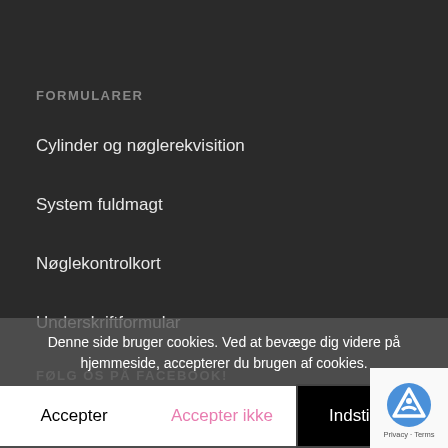FORMULARER
Cylinder og nøglerekvisition
System fuldmagt
Nøglekontrolkort
Underskriftformular
FØLG OS PÅ FACEBOOK!
Denne side bruger cookies. Ved at bevæge dig videre på hjemmeside, accepterer du brugen af cookies.
Accepter
Accepter ikke
Indstillinger